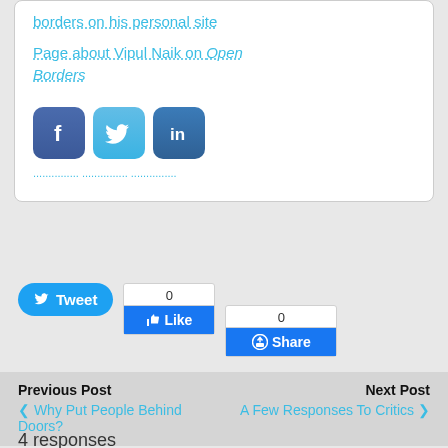borders on his personal site
Page about Vipul Naik on Open Borders
[Figure (screenshot): Social sharing icons: Facebook, Twitter, LinkedIn rounded square buttons]
[Figure (screenshot): Tweet button, Facebook Like widget (count: 0), Facebook Share widget (count: 0)]
Previous Post
Next Post
< Why Put People Behind Doors?
A Few Responses To Critics >
4 responses